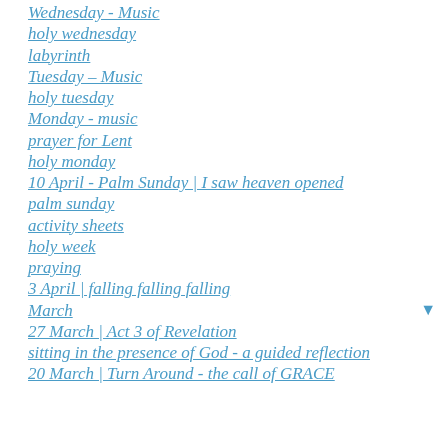Wednesday - Music
holy wednesday
labyrinth
Tuesday – Music
holy tuesday
Monday - music
prayer for Lent
holy monday
10 April - Palm Sunday | I saw heaven opened
palm sunday
activity sheets
holy week
praying
3 April | falling falling falling
March
27 March | Act 3 of Revelation
sitting in the presence of God - a guided reflection
20 March | Turn Around - the call of GRACE